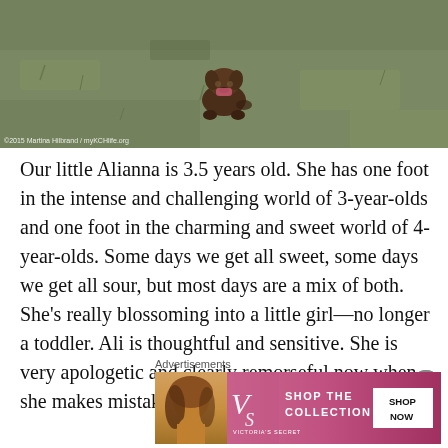[Figure (photo): Outdoor photo of a small brown dog on grass/dirt ground, viewed from above. A photo credit watermark reads '©2015 Martina Hilbrand / myKCHlife.org']
Our little Alianna is 3.5 years old. She has one foot in the intense and challenging world of 3-year-olds and one foot in the charming and sweet world of 4-year-olds. Some days we get all sweet, some days we get all sour, but most days are a mix of both. She's really blossoming into a little girl—no longer a toddler. Ali is thoughtful and sensitive. She is very apologetic and clearly remorseful now when she makes mistakes, like breaking something or hurting someone by accident. She has the best helper-heart, and jumps to help whenever she sees a need. She got her firs
Advertisements
[Figure (screenshot): Victoria's Secret advertisement banner: pink/red gradient background with woman's face, VS logo, text 'SHOP THE COLLECTION' and 'VICTORIA'S SECRET', white button 'SHOP NOW']